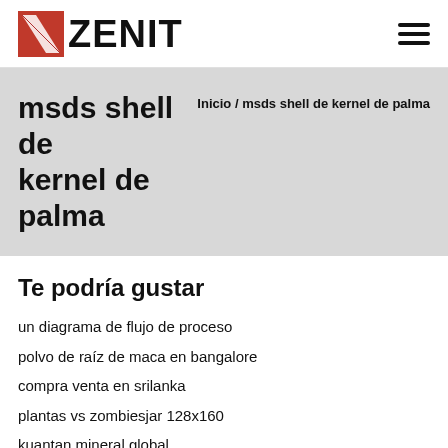ZENIT
msds shell de kernel de palma
Inicio / msds shell de kernel de palma
Te podría gustar
un diagrama de flujo de proceso
polvo de raíz de maca en bangalore
compra venta en srilanka
plantas vs zombiesjar 128x160
kuantan mineral global
etiquetar los diámetros de la máquina de café y del molino